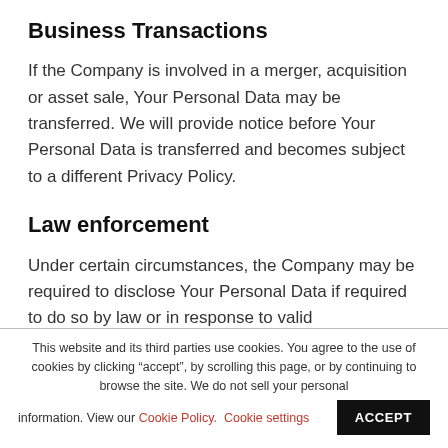Business Transactions
If the Company is involved in a merger, acquisition or asset sale, Your Personal Data may be transferred. We will provide notice before Your Personal Data is transferred and becomes subject to a different Privacy Policy.
Law enforcement
Under certain circumstances, the Company may be required to disclose Your Personal Data if required to do so by law or in response to valid
This website and its third parties use cookies. You agree to the use of cookies by clicking “accept”, by scrolling this page, or by continuing to browse the site. We do not sell your personal information. View our Cookie Policy.  Cookie settings
ACCEPT